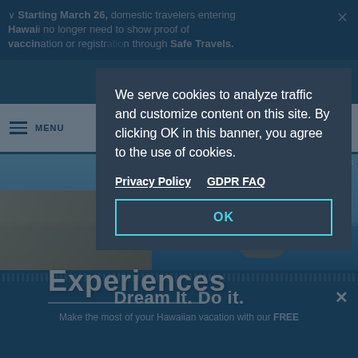Starting March 26, domestic travelers entering Hawaii no longer need to show proof of vaccination or registration through Safe Travels.
[Figure (screenshot): Hawaiian Islands tourism website showing navigation bar with hamburger menu, The Hawaiian Islands logo, beach/surfing photo with 'Experiences' heading, tapa pattern band, and 'Dream It. Do it.' promotional footer bar]
We serve cookies to analyze traffic and customize content on this site. By clicking OK in this banner, you agree to the use of cookies.
Privacy Policy    GDPR FAQ
OK
Experiences
Dream It. Do it.
Make the most of your Hawaiian vacation with our FREE